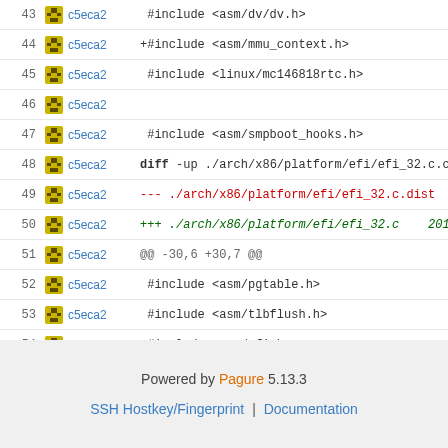Code viewer showing lines 43-59 with commit c5eca2, including diff output for arch/x86/platform/efi/efi_32.c
Powered by Pagure 5.13.3 | SSH Hostkey/Fingerprint | Documentation